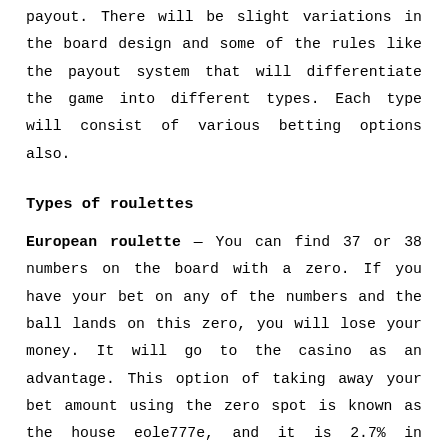payout. There will be slight variations in the board design and some of the rules like the payout system that will differentiate the game into different types. Each type will consist of various betting options also.
Types of roulettes
European roulette — You can find 37 or 38 numbers on the board with a zero. If you have your bet on any of the numbers and the ball lands on this zero, you will lose your money. It will go to the casino as an advantage. This option of taking away your bet amount using the zero spot is known as the house eole777e, and it is 2.7% in European roulette. These numbers will be divided into boxes of red and black color. Sometimes, you can also find double